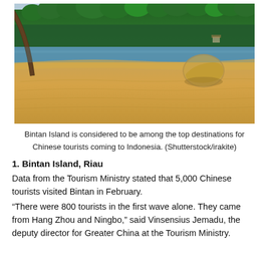[Figure (photo): Beach scene at Bintan Island showing golden sandy beach, calm water, a large rock, and tropical trees lining the shore in the background under a hazy sky.]
Bintan Island is considered to be among the top destinations for Chinese tourists coming to Indonesia. (Shutterstock/irakite)
1. Bintan Island, Riau
Data from the Tourism Ministry stated that 5,000 Chinese tourists visited Bintan in February.
“There were 800 tourists in the first wave alone. They came from Hang Zhou and Ningbo,” said Vinsensius Jemadu, the deputy director for Greater China at the Tourism Ministry.